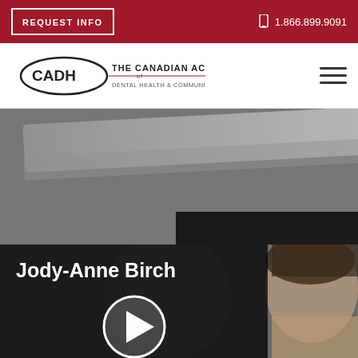REQUEST INFO  1.866.899.9091
[Figure (logo): CADH - The Canadian Academy of Dental Health & Community Sciences logo]
[Figure (photo): Close-up photo of a dental instrument or equipment, grayish metallic surface]
[Figure (photo): Video thumbnail showing a woman's face (Jody-Anne Birch), with play button overlay and name label]